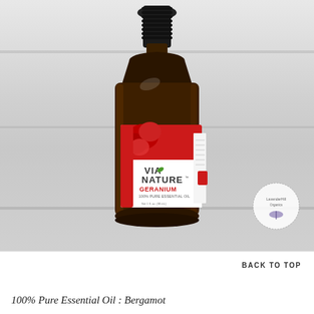[Figure (photo): A dark amber glass bottle of Via Nature Geranium 100% Pure Essential Oil with a black dropper cap, red and white label with flower imagery, placed on a light gray surface with horizontal shelf-like lines in the background. A circular watermark/logo is visible in the lower right of the image.]
BACK TO TOP
100% Pure Essential Oil : Bergamot